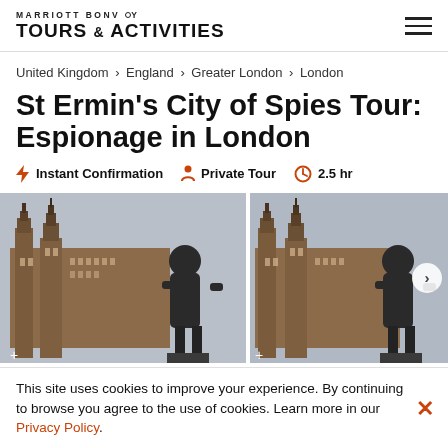MARRIOTT BONVOY TOURS & ACTIVITIES
United Kingdom > England > Greater London > London
St Ermin's City of Spies Tour: Espionage in London
Instant Confirmation  Private Tour  2.5 hr
[Figure (photo): Two nearly identical photos side by side showing a bronze statue of Winston Churchill viewed from behind, with the Houses of Parliament (Palace of Westminster) with its ornate Gothic towers visible in the background against a cloudy sky. A carousel next arrow is visible on the right side.]
This site uses cookies to improve your experience. By continuing to browse you agree to the use of cookies. Learn more in our Privacy Policy.